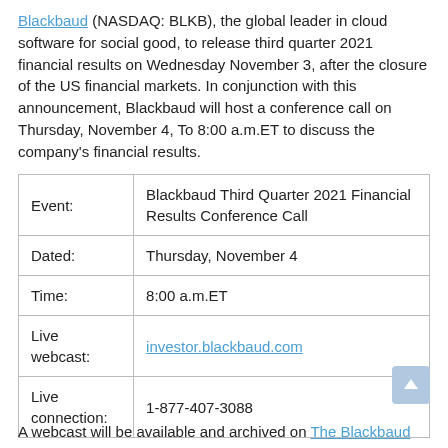Blackbaud (NASDAQ: BLKB), the global leader in cloud software for social good, to release third quarter 2021 financial results on Wednesday November 3, after the closure of the US financial markets. In conjunction with this announcement, Blackbaud will host a conference call on Thursday, November 4, To 8:00 a.m.ET to discuss the company's financial results.
| Event: | Blackbaud Third Quarter 2021 Financial Results Conference Call |
| Dated: | Thursday, November 4 |
| Time: | 8:00 a.m.ET |
| Live webcast: | investor.blackbaud.com |
| Live connection: | 1-877-407-3088 |
A webcast will be available and archived on The Blackbaud